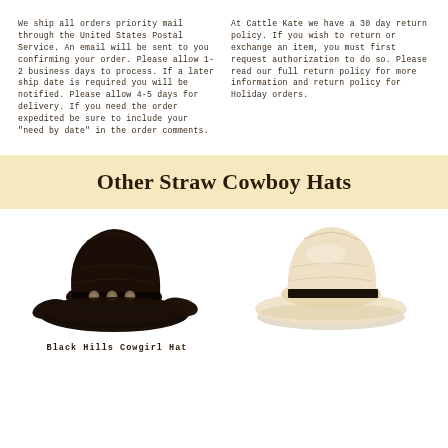We ship all orders priority mail through the United States Postal Service. An email will be sent to you confirming your order. Please allow 1-2 business days to process. If a later ship date is required you will be notified. Please allow 4-5 days for delivery. If you need the order expedited be sure to include your "need by date" in the order comments.
At Cattle Kate we have a 30 day return policy. If you wish to return or exchange an item, you must first request authorization to do so. Please read our full return policy for more information and return policy for Holiday orders.
Other Straw Cowboy Hats
[Figure (photo): Black straw cowboy hat with decorative silver concho band]
Black Hills Cowgirl Hat
[Figure (photo): Cream/natural colored straw cowboy hat with black band, flat brim style]